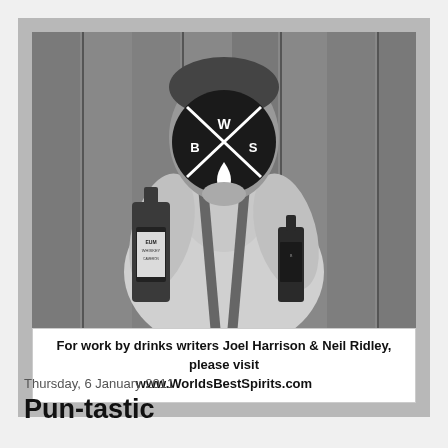[Figure (photo): Black and white photo of a man holding two bottles (one whiskey bottle labeled 'EURO WHISKEY', one smaller bottle), wearing suspenders and a white shirt, with a circular logo overlaying his face showing 'W B S' with an X pattern and a drop shape. Background is wooden planks. Below the photo is a white caption box.]
For work by drinks writers Joel Harrison & Neil Ridley, please visit www.WorldsBestSpirits.com
Thursday, 6 January 2011
Pun-tastic